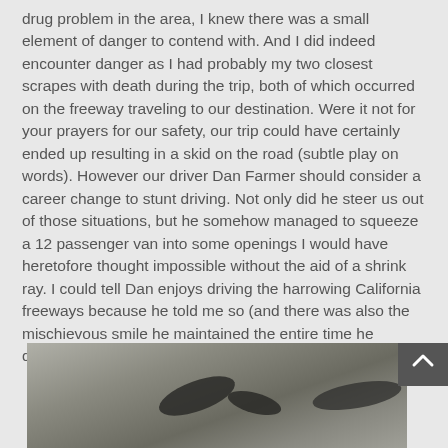drug problem in the area, I knew there was a small element of danger to contend with. And I did indeed encounter danger as I had probably my two closest scrapes with death during the trip, both of which occurred on the freeway traveling to our destination. Were it not for your prayers for our safety, our trip could have certainly ended up resulting in a skid on the road (subtle play on words). However our driver Dan Farmer should consider a career change to stunt driving. Not only did he steer us out of those situations, but he somehow managed to squeeze a 12 passenger van into some openings I would have heretofore thought impossible without the aid of a shrink ray. I could tell Dan enjoys driving the harrowing California freeways because he told me so (and there was also the mischievous smile he maintained the entire time he drove).
[Figure (photo): Partial photograph showing a blurred outdoor or ground-level scene in grayscale/muted tones with dark shadow shapes visible.]